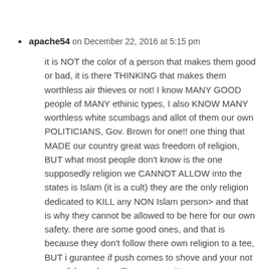apache54 on December 22, 2016 at 5:15 pm

it is NOT the color of a person that makes them good or bad, it is there THINKING that makes them worthless air thieves or not! I know MANY GOOD people of MANY ethinic types, I also KNOW MANY worthless white scumbags and allot of them our own POLITICIANS, Gov. Brown for one!! one thing that MADE our country great was freedom of religion, BUT what most people don't know is the one supposedly religion we CANNOT ALLOW into the states is Islam (it is a cult) they are the only religion dedicated to KILL any NON Islam person> and that is why they cannot be allowed to be here for our own safety. there are some good ones, and that is because they don't follow there own religion to a tee, BUT i gurantee if push comes to shove and your not one of them they will turn on you!!